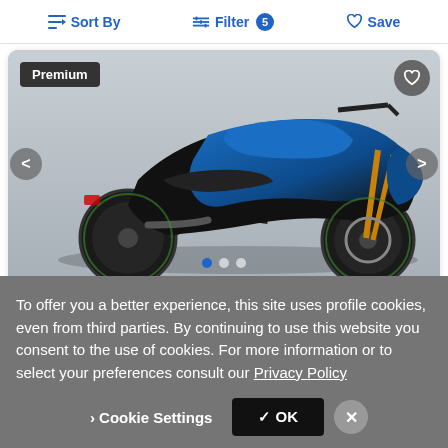Sort By  Filter 5  Save
[Figure (photo): Blue and black sport motorcycle (Suzuki GSX-S750 style) on a light gray background, shown from the left side. Premium badge in top-left corner. Heart/favorite icon in top-right corner. Navigation arrows on both sides. Three pagination dots at bottom (first dot active/blue).]
$8,949
To offer you a better experience, this site uses profile cookies, even from third parties. By continuing to use this website you consent to the use of cookies. For more information or to select your preferences consult our Privacy Policy
Cookie Settings  ✓ OK